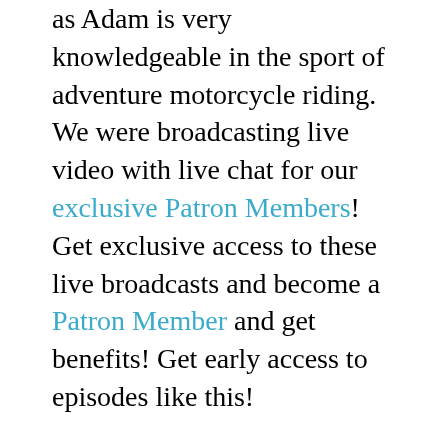as Adam is very knowledgeable in the sport of adventure motorcycle riding. We were broadcasting live video with live chat for our exclusive Patron Members! Get exclusive access to these live broadcasts and become a Patron Member and get benefits! Get early access to episodes like this!

This was a great conversation  & education for me & Popeye, who was also on a mic. Although I love riding cross-country on my Harley-Davidson Street Glide Special on maintained roads, I'd love to someday do some adventure off-road riding on roads that can only be seen and ridden on adventure type motorcycles. Being a full-time LEO